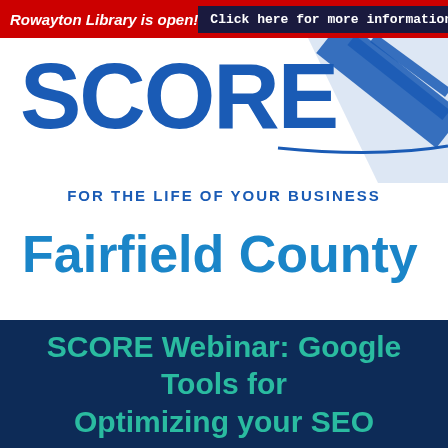Rowayton Library is open!  Click here for more information
[Figure (logo): SCORE logo with diagonal blue stripe graphic and tagline FOR THE LIFE OF YOUR BUSINESS]
Fairfield County
SCORE Webinar: Google Tools for Optimizing your SEO